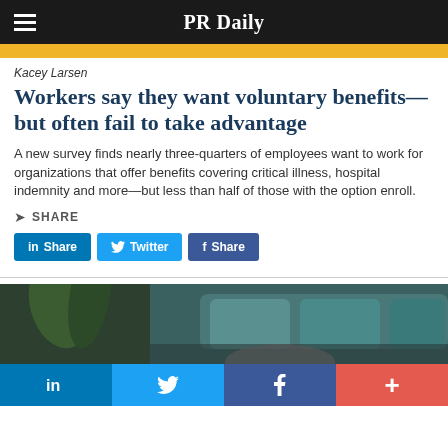PR Daily
[Figure (photo): Yellow banner strip at top of article, partially showing a person's photo]
Kacey Larsen
Workers say they want voluntary benefits—but often fail to take advantage
A new survey finds nearly three-quarters of employees want to work for organizations that offer benefits covering critical illness, hospital indemnity and more—but less than half of those with the option enroll.
SHARE
in Share   Twitter   f Share
[Figure (photo): Photo of a person lying upside down on a teal/dark sofa with green plants in the background]
in   Twitter   f   +